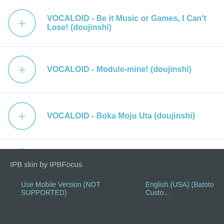VOCALOID - Be it Music or Games, I Can't Lose! (doujinshi)
VOCALOID - Module-mine! (doujinshi)
VOCALOID - Boka Moju Uta (doujinshi)
Voice
IPB skin by IPBFocus
Use Mobile Version (NOT SUPPORTED)    English (USA) (Batoto Custom)